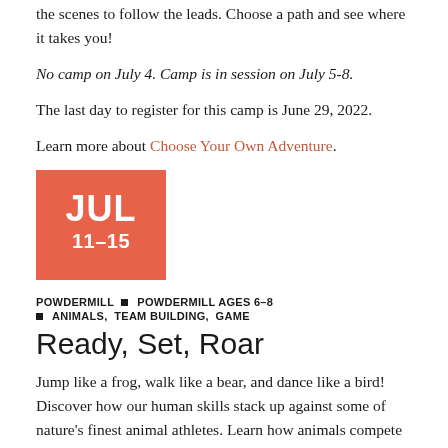Discover hidden secrets of the museum and go behind the scenes to follow the leads. Choose a path and see where it takes you!
No camp on July 4. Camp is in session on July 5-8.
The last day to register for this camp is June 29, 2022.
Learn more about Choose Your Own Adventure.
[Figure (other): Orange/coral colored date box showing JUL 11-15]
POWDERMILL ▪ POWDERMILL AGES 6-8 ▪ ANIMALS, TEAM BUILDING, GAME
Ready, Set, Roar
Jump like a frog, walk like a bear, and dance like a bird! Discover how our human skills stack up against some of nature's finest animal athletes. Learn how animals compete in the food web. Encounter live